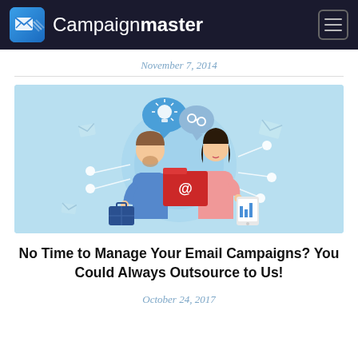Campaignmaster
November 7, 2014
[Figure (illustration): Cartoon illustration of two business people exchanging a red folder with an email icon, set against a light blue background with network nodes and speech bubbles (lightbulb and link icons). One person holds a briefcase, the other holds a tablet.]
No Time to Manage Your Email Campaigns? You Could Always Outsource to Us!
October 24, 2017